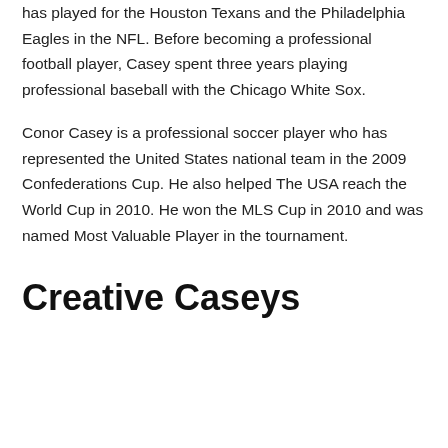has played for the Houston Texans and the Philadelphia Eagles in the NFL. Before becoming a professional football player, Casey spent three years playing professional baseball with the Chicago White Sox.
Conor Casey is a professional soccer player who has represented the United States national team in the 2009 Confederations Cup. He also helped The USA reach the World Cup in 2010. He won the MLS Cup in 2010 and was named Most Valuable Player in the tournament.
Creative Caseys